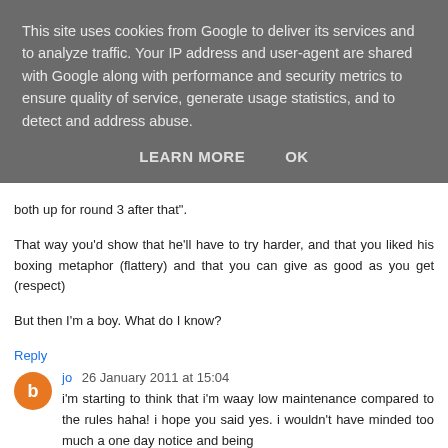This site uses cookies from Google to deliver its services and to analyze traffic. Your IP address and user-agent are shared with Google along with performance and security metrics to ensure quality of service, generate usage statistics, and to detect and address abuse.
LEARN MORE   OK
both up for round 3 after that".
That way you'd show that he'll have to try harder, and that you liked his boxing metaphor (flattery) and that you can give as good as you get (respect)
But then I'm a boy. What do I know?
Reply
jo 26 January 2011 at 15:04
i'm starting to think that i'm waay low maintenance compared to the rules haha! i hope you said yes. i wouldn't have minded too much a one day notice and being